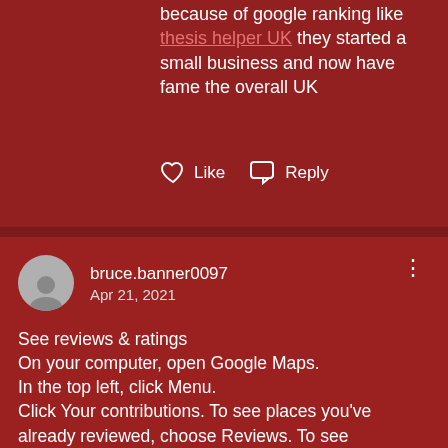because of google ranking like thesis helper UK they started a small business and now have fame the overall UK
Like   Reply
bruce.banner0097
Apr 21, 2021
See reviews & ratings
On your computer, open Google Maps.
In the top left, click Menu.
Click Your contributions. To see places you've already reviewed, choose Reviews. To see suggestions of places to review, choose Contribute.
To share a review, go to the bottom of the review and tap Share.

Regards,
Bruce
Like   Reply